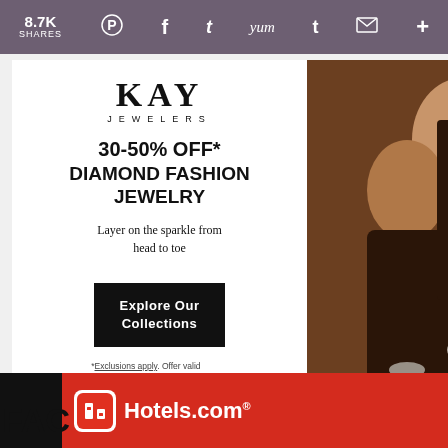8.7K SHARES
[Figure (screenshot): Kay Jewelers advertisement showing 30-50% OFF Diamond Fashion Jewelry promotion with couple photo and Explore Our Collections button]
[Figure (screenshot): What's Next widget showing Grilled Fish Tacos with...]
[Figure (screenshot): Hotels.com banner advertisement with BOOK NOW button]
FAC